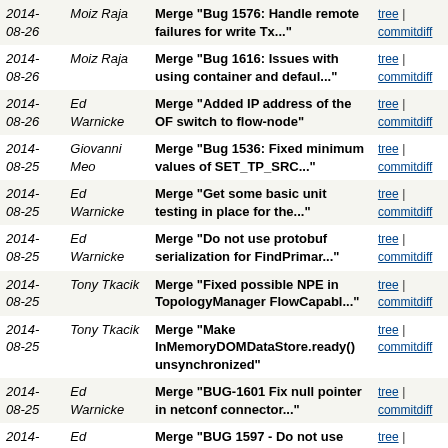| Date | Author | Message | Links |
| --- | --- | --- | --- |
| 2014-08-26 | Moiz Raja | Merge "Bug 1576: Handle remote failures for write Tx..." | tree | commitdiff |
| 2014-08-26 | Moiz Raja | Merge "Bug 1616: Issues with using container and defaul..." | tree | commitdiff |
| 2014-08-26 | Ed Warnicke | Merge "Added IP address of the OF switch to flow-node" | tree | commitdiff |
| 2014-08-25 | Giovanni Meo | Merge "Bug 1536: Fixed minimum values of SET_TP_SRC..." | tree | commitdiff |
| 2014-08-25 | Ed Warnicke | Merge "Get some basic unit testing in place for the..." | tree | commitdiff |
| 2014-08-25 | Ed Warnicke | Merge "Do not use protobuf serialization for FindPrimar..." | tree | commitdiff |
| 2014-08-25 | Tony Tkacik | Merge "Fixed possible NPE in TopologyManager FlowCapabl..." | tree | commitdiff |
| 2014-08-25 | Tony Tkacik | Merge "Make InMemoryDOMDataStore.ready() unsynchronized" | tree | commitdiff |
| 2014-08-25 | Ed Warnicke | Merge "BUG-1601 Fix null pointer in netconf connector..." | tree | commitdiff |
| 2014-08-25 | Ed Warnicke | Merge "BUG 1597 - Do not use toString as serialized..." | tree | commitdiff |
| 2014-08-25 | Ed Warnicke | Merge "Add type of transaction being created to log..." | tree | commitdiff |
| 2014-08-25 | Moiz Raja | Merge "Workaround for karaf bug KARAF-3069" | tree | commitdiff |
| 2014-08-25 | Moiz Raja | Merge "Fix for possible NPE if Bundle is stopped." | tree | commitdiff |